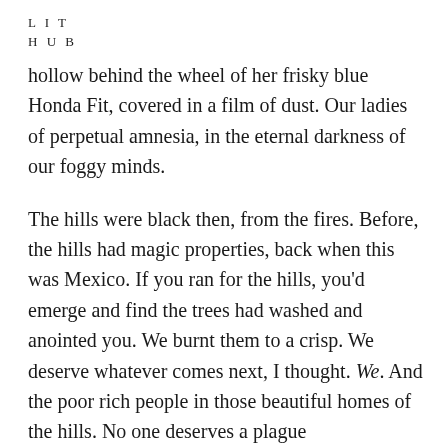L I T
H U B
hollow behind the wheel of her frisky blue Honda Fit, covered in a film of dust. Our ladies of perpetual amnesia, in the eternal darkness of our foggy minds.
The hills were black then, from the fires. Before, the hills had magic properties, back when this was Mexico. If you ran for the hills, you'd emerge and find the trees had washed and anointed you. We burnt them to a crisp. We deserve whatever comes next, I thought. We. And the poor rich people in those beautiful homes of the hills. No one deserves a plague